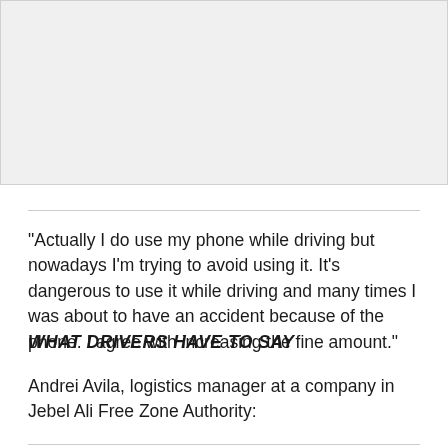[Figure (photo): Photograph placeholder area, light gray background]
"Actually I do use my phone while driving but nowadays I'm trying to avoid using it. It's dangerous to use it while driving and many times I was about to have an accident because of the phone. I agree with increasing the fine amount."
WHAT DRIVERS HAVE TO SAY
Andrei Avila, logistics manager at a company in Jebel Ali Free Zone Authority: